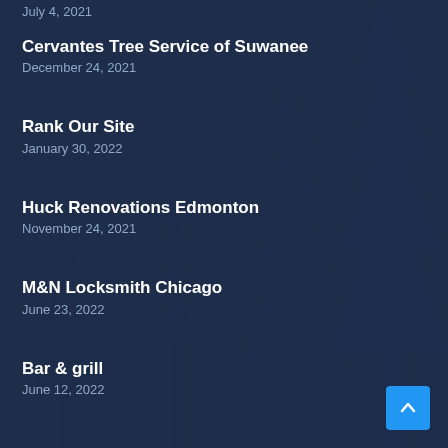[Figure (illustration): Dark navy blue background with silhouettes of pine/fir trees creating a textured forest backdrop]
July 4, 2021
Cervantes Tree Service of Suwanee
December 24, 2021
Rank Our Site
January 30, 2022
Huck Renovations Edmonton
November 24, 2021
M&N Locksmith Chicago
June 23, 2022
Bar & grill
June 12, 2022